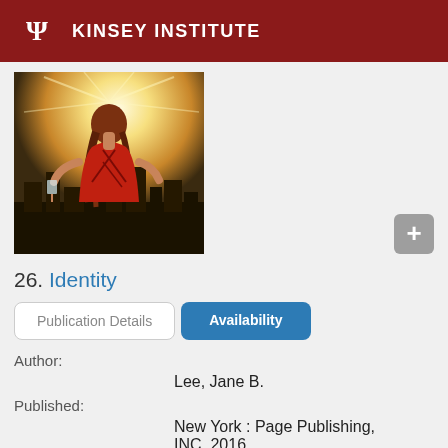KINSEY INSTITUTE
[Figure (photo): Book cover showing a woman in a red backless dress from behind, standing over a cityscape with sun rays, holding a drink.]
26. Identity
Publication Details | Availability
Author:
Lee, Jane B.
Published:
New York : Page Publishing, INC, 2016
Language: